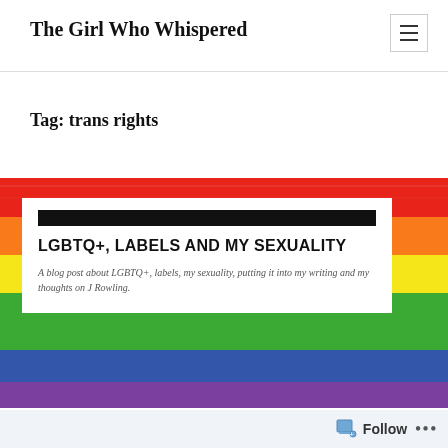The Girl Who Whispered
Tag: trans rights
[Figure (photo): A rainbow pride flag photo used as the background for a blog post card. The card has a black bar at the top, followed by the bold title 'LGBTQ+, LABELS AND MY SEXUALITY' and italic description text below.]
LGBTQ+, LABELS AND MY SEXUALITY
A blog post about LGBTQ+, labels, my sexuality, putting it into my writing and my thoughts on J Rowling.
Follow